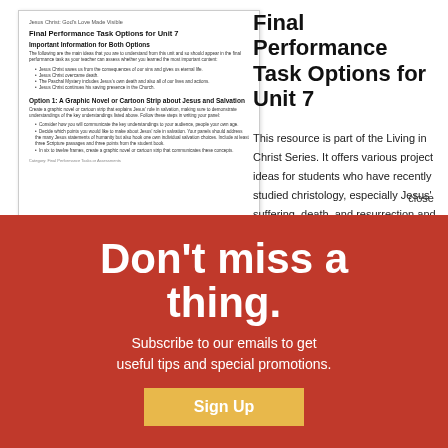[Figure (screenshot): Document thumbnail showing 'Final Performance Task Options for Unit 7' from Jesus Christ: God's Love Made Visible, with sections on Important Information for Both Options and Option 1: A Graphic Novel or Cartoon Strip about Jesus and Salvation]
Final Performance Task Options for Unit 7
This resource is part of the Living in Christ Series. It offers various project ideas for students who have recently studied christology, especially Jesus' suffering, death, and resurrection and salvation.
Don't miss a thing.
Subscribe to our emails to get useful tips and special promotions.
Sign Up